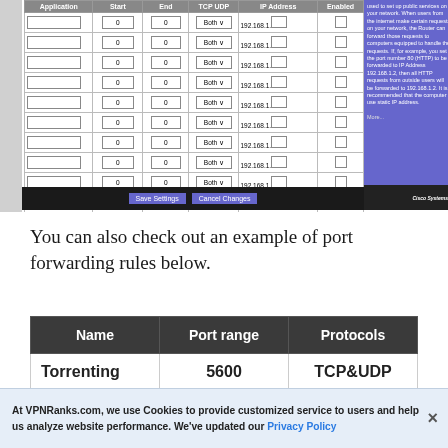[Figure (screenshot): Cisco router port forwarding admin interface showing a table with columns Application, Start, End, TCP UDP, IP Address, Enabled. Multiple rows of empty form fields with 'Both' dropdown and 192.168.1.0 IP entries. Purple help panel on right side with explanatory text about port forwarding. Black bottom bar with Save Settings and Cancel Changes buttons. Cisco Systems logo in bottom right.]
You can also check out an example of port forwarding rules below.
| Name | Port range | Protocols |
| --- | --- | --- |
| Torrenting | 5600 | TCP&UDP |
At VPNRanks.com, we use Cookies to provide customized service to users and help us analyze website performance. We've updated our Privacy Policy